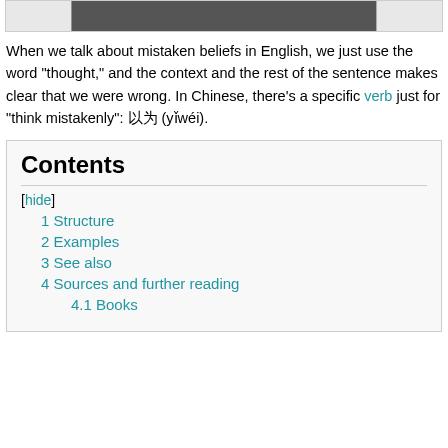[Figure (photo): Partially visible photo at top of page, dark/black and white image]
When we talk about mistaken beliefs in English, we just use the word "thought," and the context and the rest of the sentence makes clear that we were wrong. In Chinese, there's a specific verb just for "think mistakenly": 以为 (yǐwéi).
| Contents |
| [hide] |
| 1 Structure |
| 2 Examples |
| 3 See also |
| 4 Sources and further reading |
| 4.1 Books |